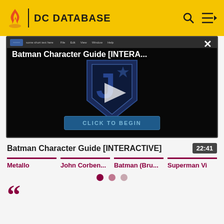DC DATABASE
[Figure (screenshot): Batman Character Guide [INTERA...] interactive video player with Justice League shield logo, play button overlay, and 'CLICK TO BEGIN' button on dark background]
Batman Character Guide [INTERACTIVE]
22:41
Metallo
John Corben...
Batman (Bru...
Superman Vi